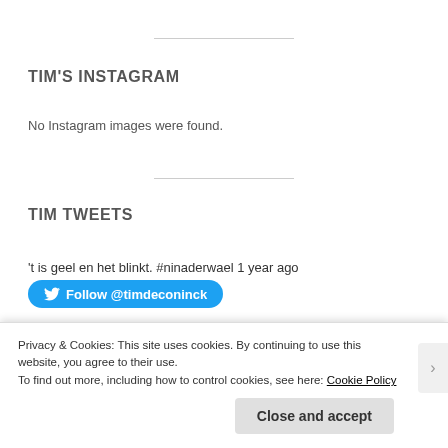TIM'S INSTAGRAM
No Instagram images were found.
TIM TWEETS
't is geel en het blinkt. #ninaderwael 1 year ago
Follow @timdeconinck
Advertisements
Privacy & Cookies: This site uses cookies. By continuing to use this website, you agree to their use. To find out more, including how to control cookies, see here: Cookie Policy
Close and accept